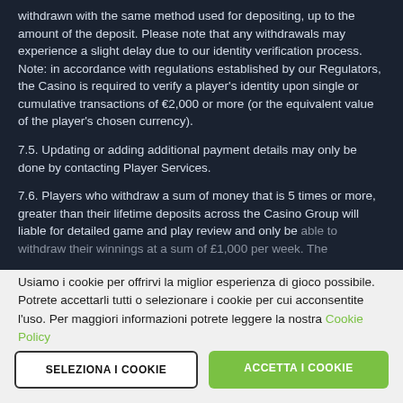withdrawn with the same method used for depositing, up to the amount of the deposit. Please note that any withdrawals may experience a slight delay due to our identity verification process. Note: in accordance with regulations established by our Regulators, the Casino is required to verify a player's identity upon single or cumulative transactions of €2,000 or more (or the equivalent value of the player's chosen currency).
7.5. Updating or adding additional payment details may only be done by contacting Player Services.
7.6. Players who withdraw a sum of money that is 5 times or more, greater than their lifetime deposits across the Casino Group will liable for detailed game and play review and only be able to withdraw their winnings at a sum of £1,000 per week. The
Usiamo i cookie per offrirvi la miglior esperienza di gioco possibile. Potrete accettarli tutti o selezionare i cookie per cui acconsentite l'uso. Per maggiori informazioni potrete leggere la nostra Cookie Policy